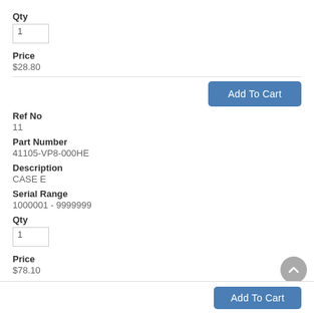Qty
1
Price
$28.80
Add To Cart
Ref No
11
Part Number
41105-VP8-000HE
Description
CASE E
Serial Range
1000001 - 9999999
Qty
1
Price
$78.10
Add To Cart